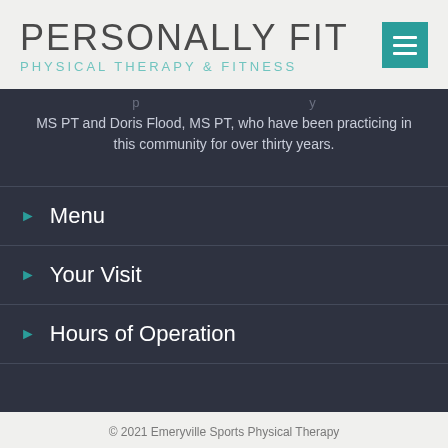[Figure (logo): Personally Fit Physical Therapy & Fitness logo with teal hamburger menu icon]
MS PT and Doris Flood, MS PT, who have been practicing in this community for over thirty years.
Menu
Your Visit
Hours of Operation
© 2021 Emeryville Sports Physical Therapy